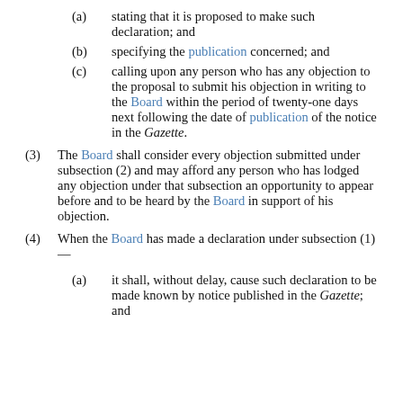(a) stating that it is proposed to make such declaration; and
(b) specifying the publication concerned; and
(c) calling upon any person who has any objection to the proposal to submit his objection in writing to the Board within the period of twenty-one days next following the date of publication of the notice in the Gazette.
(3) The Board shall consider every objection submitted under subsection (2) and may afford any person who has lodged any objection under that subsection an opportunity to appear before and to be heard by the Board in support of his objection.
(4) When the Board has made a declaration under subsection (1)—
(a) it shall, without delay, cause such declaration to be made known by notice published in the Gazette; and